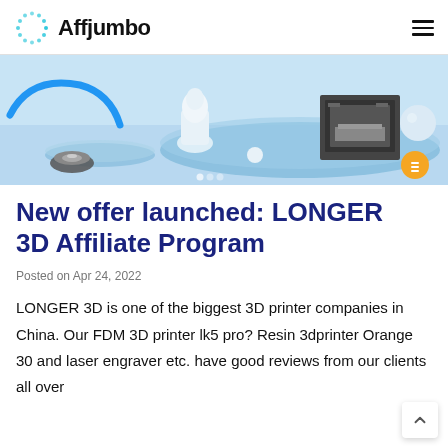Affjumbo
[Figure (photo): 3D printer hero image with blue background, showing a 3D printer, a white sculpted bust, filament spool, and geometric shapes on a light blue platform]
New offer launched: LONGER 3D Affiliate Program
Posted on Apr 24, 2022
LONGER 3D is one of the biggest 3D printer companies in China. Our FDM 3D printer lk5 pro? Resin 3dprinter Orange 30 and laser engraver etc. have good reviews from our clients all over